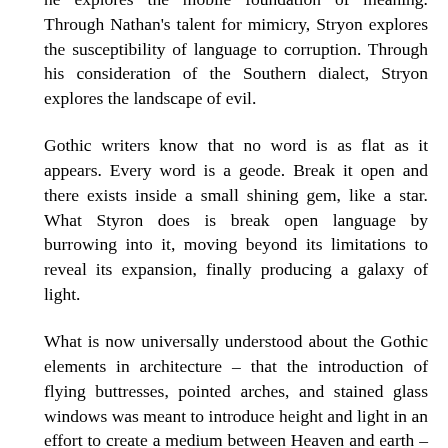well as its foul. Through Sophie's talent for languages he explores the mobile foundation of meaning. Through Nathan's talent for mimicry, Stryon explores the susceptibility of language to corruption. Through his consideration of the Southern dialect, Stryon explores the landscape of evil.
Gothic writers know that no word is as flat as it appears. Every word is a geode. Break it open and there exists inside a small shining gem, like a star. What Styron does is break open language by burrowing into it, moving beyond its limitations to reveal its expansion, finally producing a galaxy of light.
What is now universally understood about the Gothic elements in architecture – that the introduction of flying buttresses, pointed arches, and stained glass windows was meant to introduce height and light in an effort to create a medium between Heaven and earth – is frequently forgotten in consideration of Gothic literature.
In Gothic, Fred Botting sums up Edmund Burke's A Philosophical Enquiry into the Origin of Our Ideas of the Sublime by explaining that "while beauty could be contained within the individual's gaze or comprehension, sublimity presented an excess that could not be processed by a rational mind." (39) In Gothic literature, where the reach is for the sublime, much depends on the emotions.